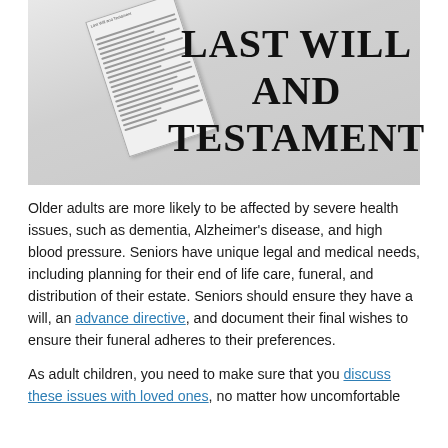[Figure (photo): Photo of a Last Will and Testament document. A large white document with bold serif text reading 'LAST WILL AND TESTAMENT' is visible, along with a smaller folded document on top to the left showing 'Last Will and Testament' in smaller text and lines of text.]
Older adults are more likely to be affected by severe health issues, such as dementia, Alzheimer's disease, and high blood pressure. Seniors have unique legal and medical needs, including planning for their end of life care, funeral, and distribution of their estate. Seniors should ensure they have a will, an advance directive, and document their final wishes to ensure their funeral adheres to their preferences.
As adult children, you need to make sure that you discuss these issues with loved ones, no matter how uncomfortable